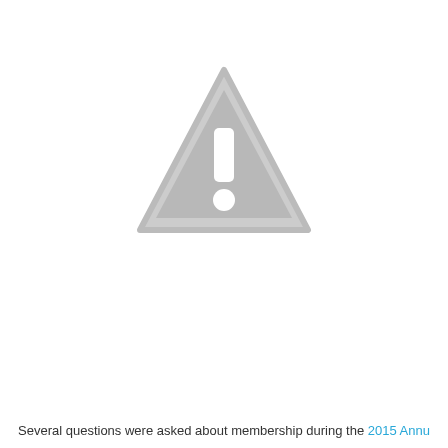[Figure (illustration): A gray warning triangle icon with an exclamation mark, indicating a missing or unavailable image placeholder.]
Several questions were asked about membership during the 2015 Annual